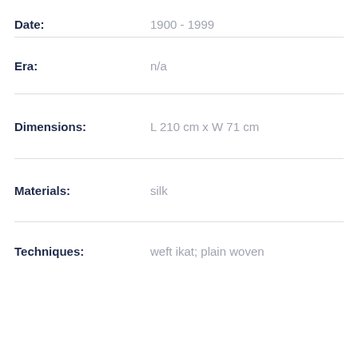Date: 1900 - 1999
Era: n/a
Dimensions: L 210 cm x W 71 cm
Materials: silk
Techniques: weft ikat; plain woven